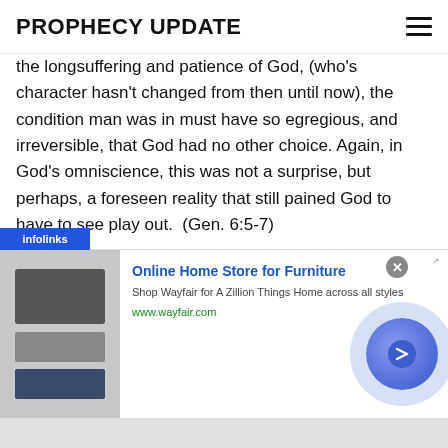PROPHECY UPDATE
the longsuffering and patience of God, (who's character hasn't changed from then until now), the condition man was in must have so egregious, and irreversible, that God had no other choice. Again, in God's omniscience, this was not a surprise, but perhaps, a foreseen reality that still pained God to have to see play out.  (Gen. 6:5-7)
Curiously, Jesus stated that the Days just prior to His return, would be like the days before the Noahic flood. This brings some interesting things to mind we often don't
[Figure (screenshot): Infolinks advertising bar overlay at bottom of content, followed by a Wayfair online furniture store advertisement banner with product image, title 'Online Home Store for Furniture', description text 'Shop Wayfair for A Zillion Things Home across all styles', URL www.wayfair.com, close button, and blue arrow button.]